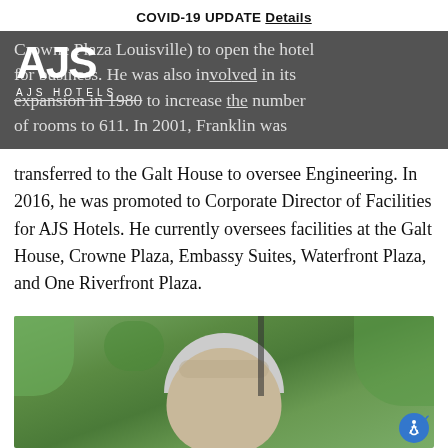COVID-19 UPDATE Details
Crowne Plaza Louisville) to open the hotel for business. He was also involved in its expansion in 1980 to increase the number of rooms to 611. In 2001, Franklin was transferred to the Galt House to oversee Engineering. In 2016, he was promoted to Corporate Director of Facilities for AJS Hotels. He currently oversees facilities at the Galt House, Crowne Plaza, Embassy Suites, Waterfront Plaza, and One Riverfront Plaza.
[Figure (photo): Portrait photo of a man with white/grey hair outdoors with green foliage in the background]